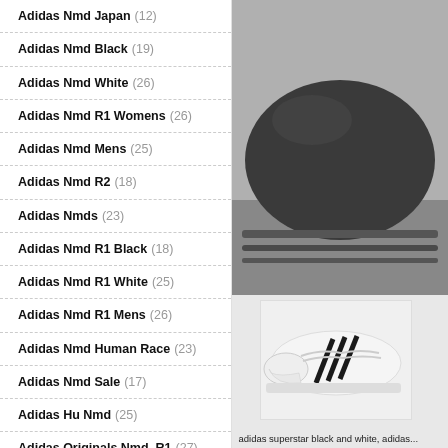Adidas Nmd Japan (12)
Adidas Nmd Black (19)
Adidas Nmd White (26)
Adidas Nmd R1 Womens (26)
Adidas Nmd Mens (25)
Adidas Nmd R2 (18)
Adidas Nmds (23)
Adidas Nmd R1 Black (18)
Adidas Nmd R1 White (25)
Adidas Nmd R1 Mens (26)
Adidas Nmd Human Race (23)
Adidas Nmd Sale (17)
Adidas Hu Nmd (25)
Adidas Originals Nmd_R1 (27)
Adidas Nmd Primeknit (28)
[Figure (photo): Dark colored Adidas NMD shoe/product, close-up showing the sole and side profile against a light grey background]
[Figure (photo): Adidas Superstar sneaker in white with black stripes, side view on light grey background]
adidas superstar black and white, adidas...